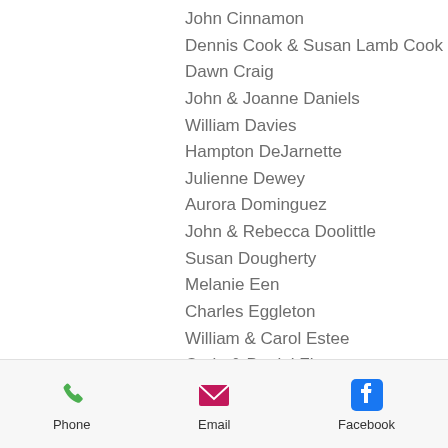John Cinnamon
Dennis Cook & Susan Lamb Cook
Dawn Craig
John & Joanne Daniels
William Davies
Hampton DeJarnette
Julienne Dewey
Aurora Dominguez
John & Rebecca Doolittle
Susan Dougherty
Melanie Een
Charles Eggleton
William & Carol Estee
Carla & Daniel Flamm
George Galamba
Melvin Garlick
Ingrid Gaston
Marjorie Gee
Skip & Liz George
Elizabeth Gilbert
Phone  Email  Facebook